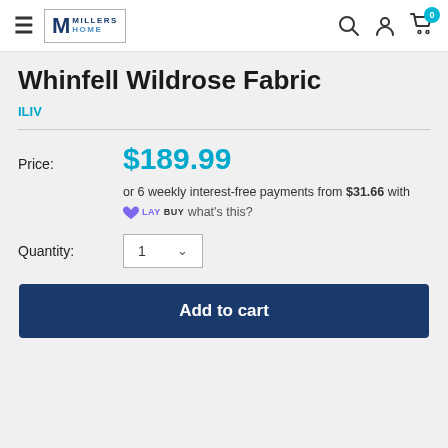Millers Home — navigation header with search, account, and cart icons
Whinfell Wildrose Fabric
ILIV
Price: $189.99
or 6 weekly interest-free payments from $31.66 with Laybuy what's this?
Quantity: 1
Add to cart